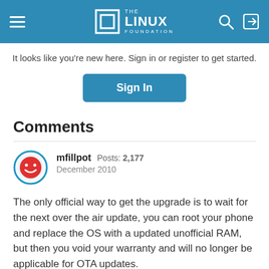The Linux Foundation
It looks like you're new here. Sign in or register to get started.
Sign In
Comments
mfillpot  Posts: 2,177  December 2010
The only official way to get the upgrade is to wait for the next over the air update, you can root your phone and replace the OS with a updated unofficial RAM, but then you void your warranty and will no longer be applicable for OTA updates.